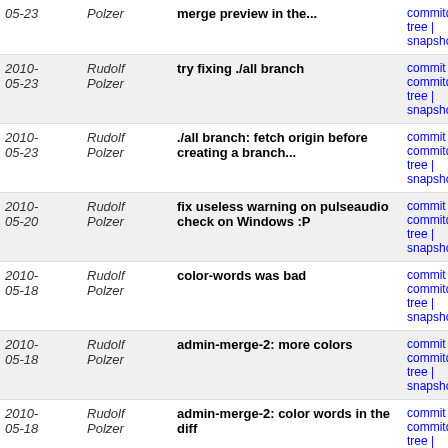| Date | Author | Message | Links |
| --- | --- | --- | --- |
| 2010-05-23 | Rudolf Polzer | merge preview in the... | commit | commitdiff | tree | snapshot |
| 2010-05-23 | Rudolf Polzer | try fixing ./all branch | commit | commitdiff | tree | snapshot |
| 2010-05-23 | Rudolf Polzer | ./all branch: fetch origin before creating a branch... | commit | commitdiff | tree | snapshot |
| 2010-05-20 | Rudolf Polzer | fix useless warning on pulseaudio check on Windows :P | commit | commitdiff | tree | snapshot |
| 2010-05-18 | Rudolf Polzer | color-words was bad | commit | commitdiff | tree | snapshot |
| 2010-05-18 | Rudolf Polzer | admin-merge-2: more colors | commit | commitdiff | tree | snapshot |
| 2010-05-18 | Rudolf Polzer | admin-merge-2: color words in the diff | commit | commitdiff | tree | snapshot |
| 2010-05-15 | Rudolf Polzer | ./all: checkout with no arg checks out the default... | commit | commitdiff | tree | snapshot |
| 2010-05-15 | Rudolf Polzer | admin-merge-2: upload report to rm.endoftheinternet... | commit | commitdiff | tree | snapshot |
| 2010-05-15 | Rudolf Polzer | more admin-merge-2 stuff ;) | commit | commitdiff | tree | snapshot |
| 2010-05-15 | Rudolf Polzer | some fixes for ./all admin-merge-2 | commit | commitdiff | tree | snapshot |